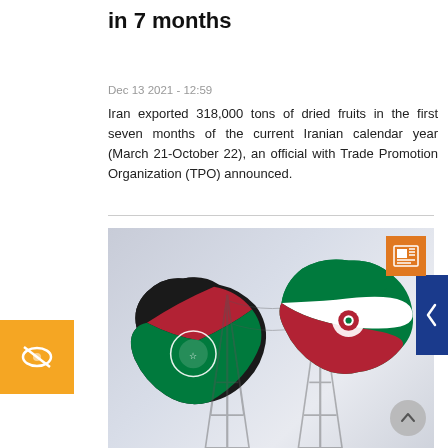in 7 months
Dec 13 2021 - 12:59
Iran exported 318,000 tons of dried fruits in the first seven months of the current Iranian calendar year (March 21-October 22), an official with Trade Promotion Organization (TPO) announced.
[Figure (photo): Composite image showing maps of Afghanistan (with Afghan flag colors) and Iran (with Iranian flag colors) overlaid with electricity transmission tower silhouettes, representing Iran-Afghanistan energy/trade relations.]